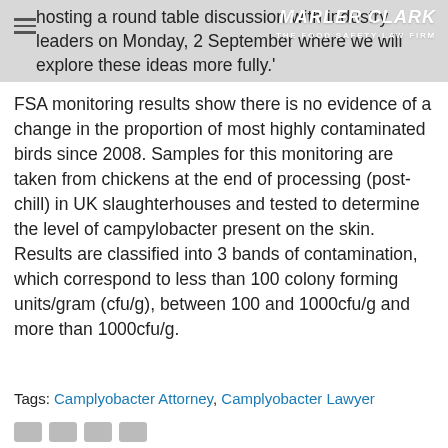hosting a round table discussion with industry leaders on Monday, 2 September where we will explore these ideas more fully.'
FSA monitoring results show there is no evidence of a change in the proportion of most highly contaminated birds since 2008. Samples for this monitoring are taken from chickens at the end of processing (post-chill) in UK slaughterhouses and tested to determine the level of campylobacter present on the skin. Results are classified into 3 bands of contamination, which correspond to less than 100 colony forming units/gram (cfu/g), between 100 and 1000cfu/g and more than 1000cfu/g.
Tags: Camplyobacter Attorney, Camplyobacter Lawyer